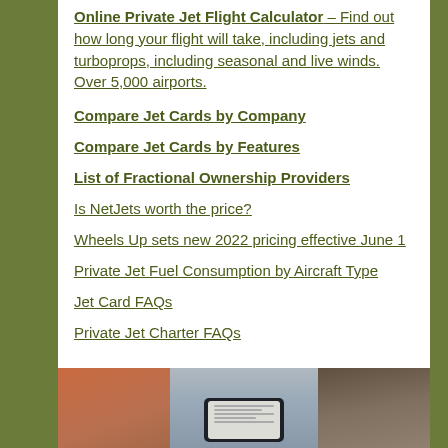Online Private Jet Flight Calculator – Find out how long your flight will take, including jets and turboprops, including seasonal and live winds. Over 5,000 airports.
Compare Jet Cards by Company
Compare Jet Cards by Features
List of Fractional Ownership Providers
Is NetJets worth the price?
Wheels Up sets new 2022 pricing effective June 1
Private Jet Fuel Consumption by Aircraft Type
Jet Card FAQs
Private Jet Charter FAQs
[Figure (photo): Photo of a smartphone and notebook/pen on a surface, shown from above]